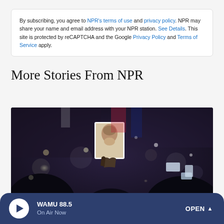By subscribing, you agree to NPR's terms of use and privacy policy. NPR may share your name and email address with your NPR station. See Details. This site is protected by reCAPTCHA and the Google Privacy Policy and Terms of Service apply.
More Stories From NPR
[Figure (photo): A nighttime crowd scene with people holding up a black-and-white portrait photograph, surrounded by bokeh lights and silhouettes.]
WAMU 88.5 On Air Now OPEN